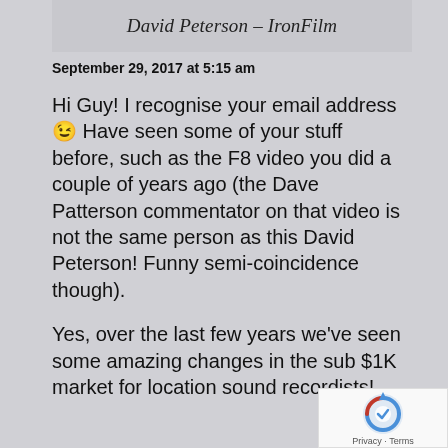David Peterson – IronFilm
September 29, 2017 at 5:15 am
Hi Guy! I recognise your email address 😉 Have seen some of your stuff before, such as the F8 video you did a couple of years ago (the Dave Patterson commentator on that video is not the same person as this David Peterson! Funny semi-coincidence though).

Yes, over the last few years we've seen some amazing changes in the sub $1K market for location sound recordists!
[Figure (logo): reCAPTCHA badge with Privacy and Terms text]